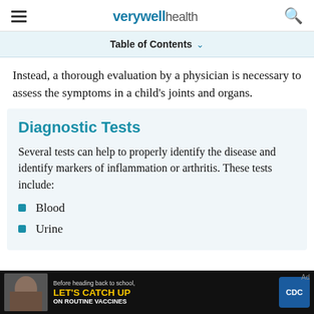verywell health
Table of Contents
Instead, a thorough evaluation by a physician is necessary to assess the symptoms in a child's joints and organs.
Diagnostic Tests
Several tests can help to properly identify the disease and identify markers of inflammation or arthritis. These tests include:
Blood
Urine
[Figure (photo): CDC advertisement: Before heading back to school, LET'S CATCH UP ON ROUTINE VACCINES, with CDC logo and photo of a child]